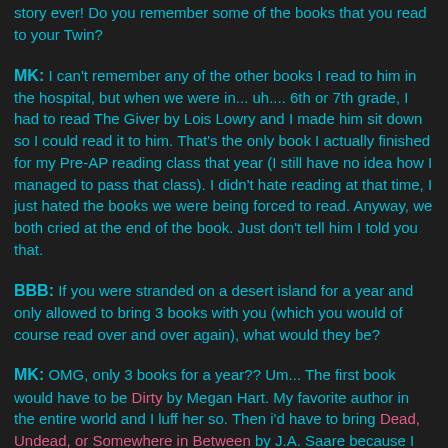story ever! Do you remember some of the books that you read to your Twin?
MK: I can't remember any of the other books I read to him in the hospital, but when we were in... uh.... 6th or 7th grade, I had to read The Giver by Lois Lowry and I made him sit down so I could read it to him. That's the only book I actually finished for my Pre-AP reading class that year (I still have no idea how I managed to pass that class). I didn't hate reading at that time, I just hated the books we were being forced to read. Anyway, we both cried at the end of the book. Just don't tell him I told you that.
BBB: If you were stranded on a desert island for a year and only allowed to bring 3 books with you (which you would of course read over and over again), what would they be?
MK: OMG, only 3 books for a year?? Um... The first book would have to be Dirty by Megan Hart. My favorite author in the entire world and I luff her so. Then i'd have to bring Dead, Undead, or Somewhere in Between by J.A. Saare because I have to have my Disco fix. And finally...